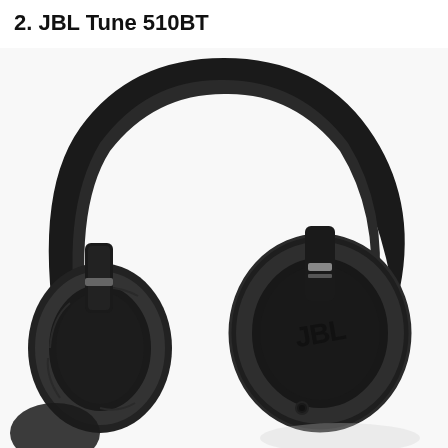2. JBL Tune 510BT
[Figure (photo): Black JBL Tune 510BT over-ear wireless headphones shown at an angle, with the JBL logo visible on the right ear cup. The headphones are entirely black with padded ear cushions and an adjustable headband.]